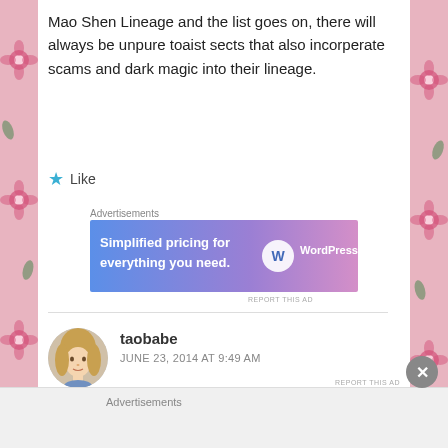Mao Shen Lineage and the list goes on, there will always be unpure toaist sects that also incorperate scams and dark magic into their lineage.
Like
Advertisements
[Figure (screenshot): WordPress.com ad banner: 'Simplified pricing for everything you need.' with WordPress.com logo on gradient blue-to-pink background]
REPORT THIS AD
taobabe
JUNE 23, 2014 AT 9:49 AM
[Figure (photo): Round avatar photo of a young woman with long blonde hair]
Khuong, thanks for letting me know this one is
Advertisements
REPORT THIS AD